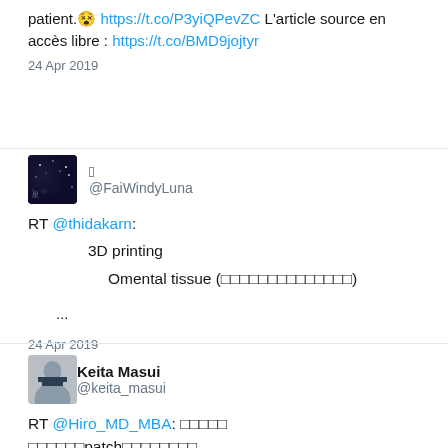patient.😵 https://t.co/P3yiQPevZC L'article source en accès libre : https://t.co/BMD9jojtyr
24 Apr 2019
[Figure (photo): Night sky avatar for FaiWindyLuna Twitter account]
@FaiWindyLuna
RT @thidakarn:
3D printing
Omental tissue (□□□□□□□□□□□□□□)
...
24 Apr 2019
[Figure (photo): Profile photo of Keita Masui, man with glasses in suit]
Keita Masui
@keita_masui
RT @Hiro_MD_MBA: □□□□□ □□□□□□patch□□□□□□□□